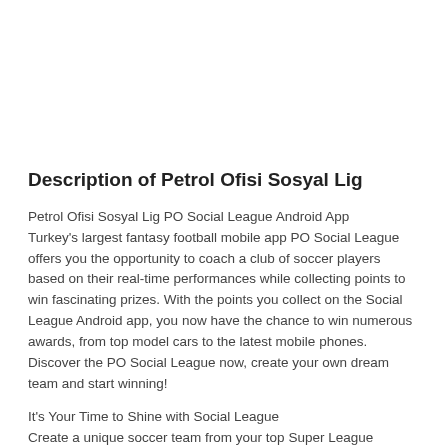Description of Petrol Ofisi Sosyal Lig
Petrol Ofisi Sosyal Lig PO Social League Android App
Turkey's largest fantasy football mobile app PO Social League offers you the opportunity to coach a club of soccer players based on their real-time performances while collecting points to win fascinating prizes. With the points you collect on the Social League Android app, you now have the chance to win numerous awards, from top model cars to the latest mobile phones. Discover the PO Social League now, create your own dream team and start winning!
It's Your Time to Shine with Social League
Create a unique soccer team from your top Super League players, collect points based on their actual statistics and performances at weekly football games, and get one step closer to the weekly and annual prizes. A fantastic Kia Stonic, a Samsung A71 mobile phone, Quantum watches and free fuel from PO are some of fabulous